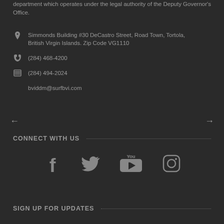department which operates under the legal authority of the Deputy Governor's Office.
Simmonds Building #30 DeCastro Street, Road Town, Tortola, British Virgin Islands. Zip Code VG1110
(284) 468-4200
(284) 494-2024
bviddm@surfbvi.com
CONNECT WITH US
[Figure (infographic): Social media icons: Facebook, Twitter, YouTube, Instagram]
SIGN UP FOR UPDATES